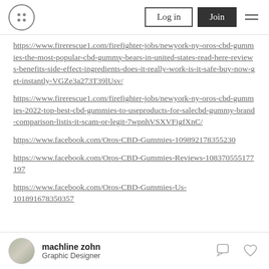Log in | Join
https://www.firerescue1.com/firefighter-jobs/newyork-ny-oros-cbd-gummies-the-most-popular-cbd-gummy-bears-in-united-states-read-here-reviews-benefits-side-effect-ingredients-does-it-really-work-is-it-safe-buy-now-get-instantly-VGZe3a273T39lUsv/
https://www.firerescue1.com/firefighter-jobs/newyork-ny-oros-cbd-gummies-2022-top-best-cbd-gummies-to-useproducts-for-salecbd-gummy-brand-comparison-listis-it-scam-or-legit-7wpnhVSXVFigfXnC/
https://www.facebook.com/Oros-CBD-Gummies-109892178355230
https://www.facebook.com/Oros-CBD-Gummies-Reviews-108370555177197
https://www.facebook.com/Oros-CBD-Gummies-Us-101891678350357
machline zohn · Graphic Designer